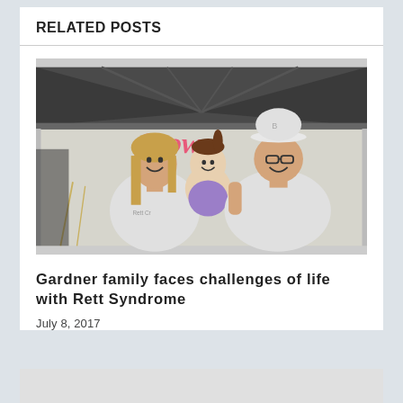RELATED POSTS
[Figure (photo): A family photo under a tent canopy at an outdoor event. A smiling woman with long blonde hair wearing a gray t-shirt stands on the left, a man wearing a baseball cap and glasses in a gray t-shirt stands on the right, and both are holding a young toddler girl in a purple outfit between them. A pink cursive sign in the background reads 'Crow'.]
Gardner family faces challenges of life with Rett Syndrome
July 8, 2017